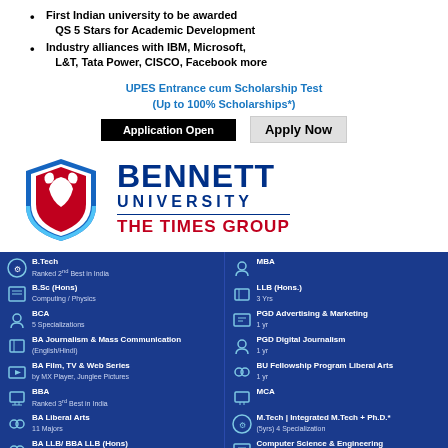First Indian university to be awarded QS 5 Stars for Academic Development
Industry alliances with IBM, Microsoft, L&T, Tata Power, CISCO, Facebook more
UPES Entrance cum Scholarship Test (Up to 100% Scholarships*)
Application Open   Apply Now
[Figure (logo): Bennett University shield logo with red and white eagle design on blue shield]
BENNETT UNIVERSITY THE TIMES GROUP
B.Tech Ranked 2nd Best in India | B.Sc (Hons) Computing / Physics | BCA 5 Specializations | BA Journalism & Mass Communication (English/Hindi) | BA Film, TV & Web Series by MX Player, Junglee Pictures | BBA Ranked 3rd Best in India | BA Liberal Arts 11 Majors | BA LLB/ BBA LLB (Hons) | MBA | LLB (Hons.) 3 Yrs | PGD Advertising & Marketing 1 yr | PGD Digital Journalism 1 yr | BU Fellowship Program Liberal Arts 1 yr | MCA | M.Tech | Integrated M.Tech + Ph.D.* (5yrs) 4 Specialization | Computer Science & Engineering = Certificate / PGD / MCA